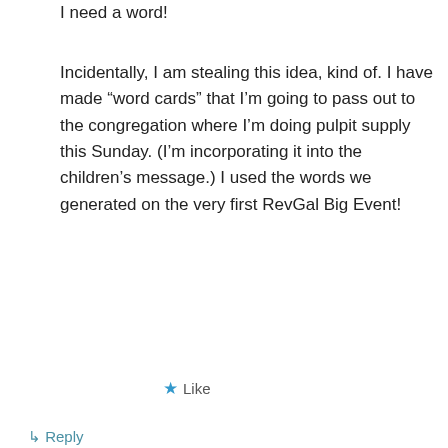I need a word!
Incidentally, I am stealing this idea, kind of. I have made “word cards” that I’m going to pass out to the congregation where I’m doing pulpit supply this Sunday. (I’m incorporating it into the children’s message.) I used the words we generated on the very first RevGal Big Event!
★ Like
↳ Reply
marciglass on January 4, 2013 at 6:42 pm
Advertisements